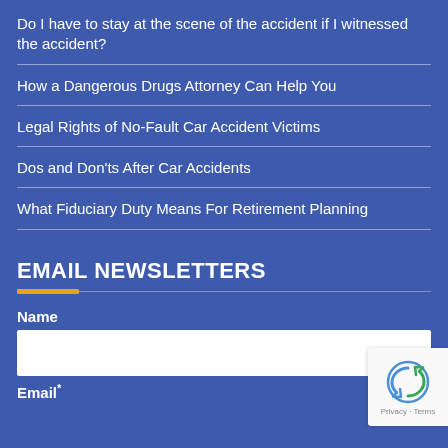Do I have to stay at the scene of the accident if I witnessed the accident?
How a Dangerous Drugs Attorney Can Help You
Legal Rights of No-Fault Car Accident Victims
Dos and Don'ts After Car Accidents
What Fiduciary Duty Means For Retirement Planning
EMAIL NEWSLETTERS
Name
Email*